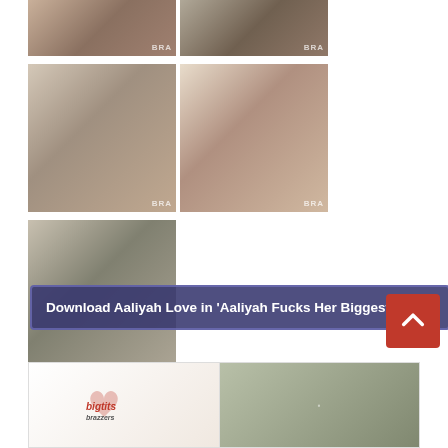[Figure (photo): Grid of adult content thumbnails with Brazzers watermarks - top row two images, middle row two images, bottom row one image]
Download Aaliyah Love in 'Aaliyah Fucks Her Biggest Fan'
[Figure (photo): Advertisement banner with Brazzers Big Tits logo and thumbnail image]